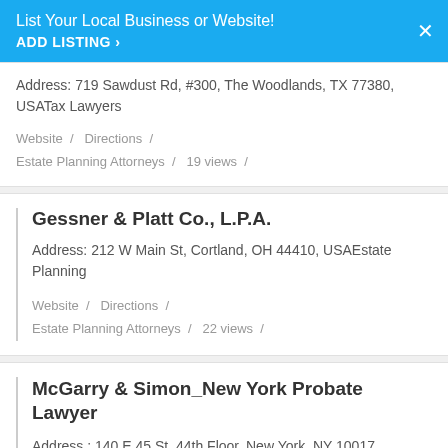List Your Local Business or Website! ADD LISTING >
Address: 719 Sawdust Rd, #300, The Woodlands, TX 77380, USATax Lawyers
Website / Directions / Estate Planning Attorneys / 19 views /
Gessner & Platt Co., L.P.A.
Address: 212 W Main St, Cortland, OH 44410, USAEstate Planning
Website / Directions / Estate Planning Attorneys / 22 views /
McGarry & Simon_New York Probate Lawyer
Address : 140 E 45 St, 44th Floor, New York, NY 10017, USAEstate Planning Attorney